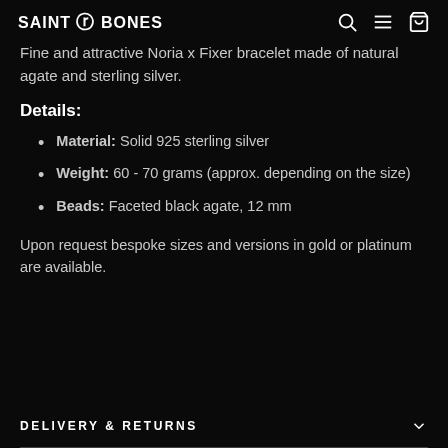SAINT BONES
Fine and attractive Noria x Fixer bracelet made of natural agate and sterling silver.
Details:
Material: Solid 925 sterling silver
Weight: 60 - 70 grams (approx. depending on the size)
Beads: Faceted black agate, 12 mm
Upon request bespoke sizes and versions in gold or platinum are available.
DELIVERY & RETURNS